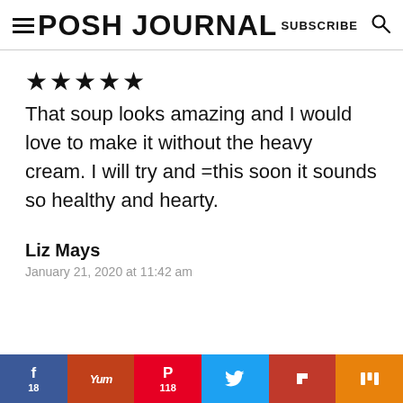POSH JOURNAL  SUBSCRIBE
★★★★★
That soup looks amazing and I would love to make it without the heavy cream. I will try and =this soon it sounds so healthy and hearty.
Liz Mays
January 21, 2020 at 11:43 am
f 18  Yum  P 118  t  F  m